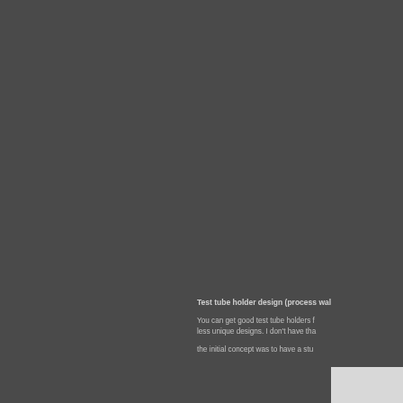[Figure (photo): Dark gray background occupying the majority of the page, representing a process walkthrough image that is mostly cropped out of view]
Test tube holder design (process wal...
You can get good test tube holders f... less unique designs. I don't have tha...
the initial concept was to have a stu...